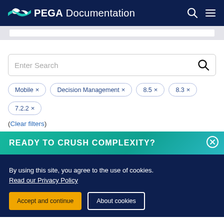PEGA Documentation
[Figure (screenshot): Search bar strip at top of page content]
[Figure (screenshot): Search input box with magnifying glass icon]
Mobile ×
Decision Management ×
8.5 ×
8.3 ×
7.2.2 ×
(Clear filters)
READY TO CRUSH COMPLEXITY?
By using this site, you agree to the use of cookies.
Read our Privacy Policy
Accept and continue   About cookies